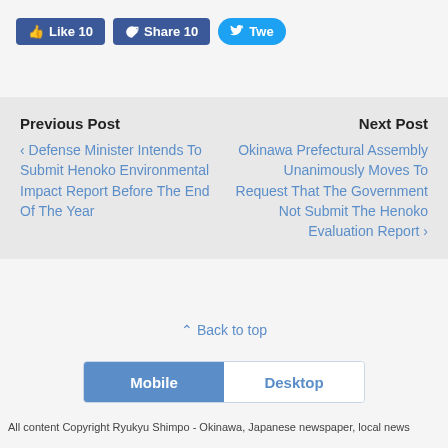[Figure (screenshot): Social share buttons: Like 10, Share 10, Twe(et) in blue/Twitter colors]
Previous Post
‹ Defense Minister Intends To Submit Henoko Environmental Impact Report Before The End Of The Year
Next Post
Okinawa Prefectural Assembly Unanimously Moves To Request That The Government Not Submit The Henoko Evaluation Report ›
⇪ Back to top
[Figure (screenshot): Mobile / Desktop toggle button]
All content Copyright Ryukyu Shimpo - Okinawa, Japanese newspaper, local news